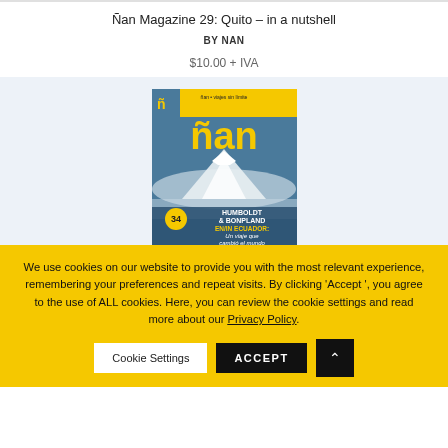Ñan Magazine 29: Quito – in a nutshell
BY NAN
$10.00 + IVA
[Figure (illustration): Magazine cover of Ñan issue 34 featuring a snowy mountain (Chimborazo) with large yellow 'ñan' logo, location pin with number 34, and text 'HUMBOLDT & BONPLAND EN/IN ECUADOR: Un viaje que cambió el mundo']
We use cookies on our website to provide you with the most relevant experience, remembering your preferences and repeat visits. By clicking 'Accept', you agree to the use of ALL cookies. Here, you can review the cookie settings and read more about our Privacy Policy.